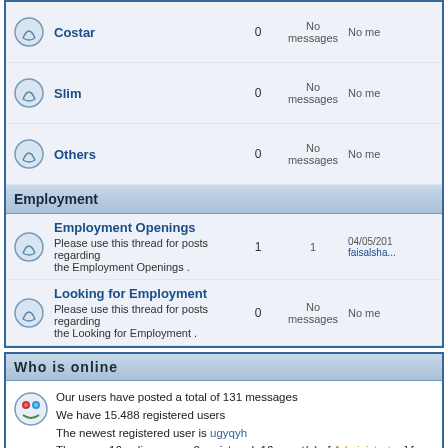|  | Forum | Topics | Messages | Last message |
| --- | --- | --- | --- | --- |
| [icon] | Costar | 0 | No messages | No me... |
| [icon] | Slim | 0 | No messages | No me... |
| [icon] | Others | 0 | No messages | No me... |
| [section] | Employment |  |  |  |
| [icon] | Employment Openings
Please use this thread for posts regarding the Employment Openings . | 1 | 1 | 04/05/2017 faisalsha... |
| [icon] | Looking for Employment
Please use this thread for posts regarding the Looking for Employment . | 0 | No messages | No me... |
Who is online
Our users have posted a total of 131 messages
We have 15.488 registered users
The newest registered user is ugyqyh
There are 16 online users: 0 registered, 16 guest(s)   [ Administrator ] [ Moderator ]
Most users ever online was 4.202 on 17/10/2017 15:31:47
Connected users: Anonymous